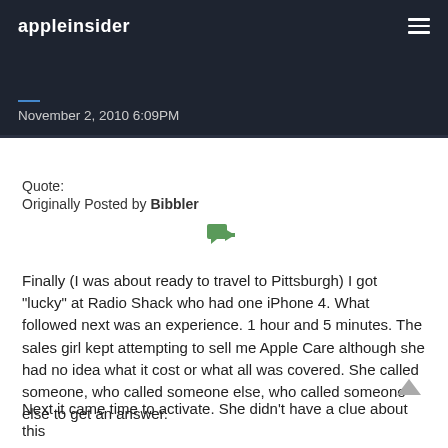appleinsider
November 2, 2010 6:09PM
Quote:
Originally Posted by Bibbler
[Figure (illustration): Green reply/quote icon with speech bubble and arrow]
Finally (I was about ready to travel to Pittsburgh) I got "lucky" at Radio Shack who had one iPhone 4. What followed next was an experience. 1 hour and 5 minutes. The sales girl kept attempting to sell me Apple Care although she had no idea what it cost or what all was covered. She called someone, who called someone else, who called someone else to get an answer.
Next it came time to activate. She didn't have a clue about this